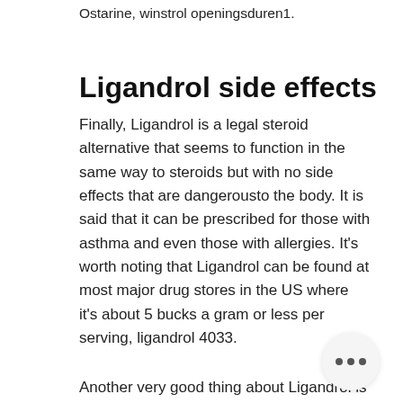Ostarine, winstrol openingsduren1.
Ligandrol side effects
Finally, Ligandrol is a legal steroid alternative that seems to function in the same way to steroids but with no side effects that are dangerousto the body. It is said that it can be prescribed for those with asthma and even those with allergies. It's worth noting that Ligandrol can be found at most major drug stores in the US where it's about 5 bucks a gram or less per serving, ligandrol 4033.
Another very good thing about Ligandrol is that it provides very similar benefits when taken with an inhaled corticosteroid, such as inhaled prednisone, compared to not us in that situation, side effects ligandrol. Another thing to note, although it does